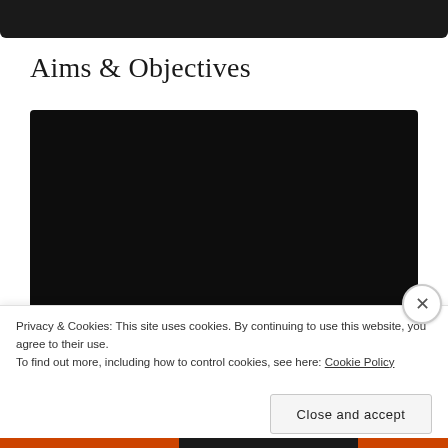[Figure (screenshot): Partial black navigation/header bar cropped from page above]
Aims & Objectives
[Figure (other): Large black video player embed block]
Privacy & Cookies: This site uses cookies. By continuing to use this website, you agree to their use.
To find out more, including how to control cookies, see here: Cookie Policy
Close and accept